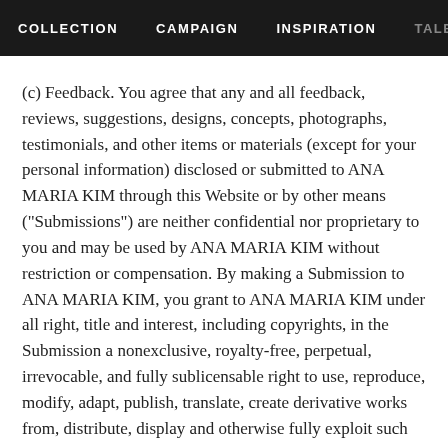COLLECTION   CAMPAIGN   INSPIRATION   TALENT
(c) Feedback. You agree that any and all feedback, reviews, suggestions, designs, concepts, photographs, testimonials, and other items or materials (except for your personal information) disclosed or submitted to ANA MARIA KIM through this Website or by other means ("Submissions") are neither confidential nor proprietary to you and may be used by ANA MARIA KIM without restriction or compensation. By making a Submission to ANA MARIA KIM, you grant to ANA MARIA KIM under all right, title and interest, including copyrights, in the Submission a nonexclusive, royalty-free, perpetual, irrevocable, and fully sublicensable right to use, reproduce, modify, adapt, publish, translate, create derivative works from, distribute, display and otherwise fully exploit such Submissions. ANA MARIA